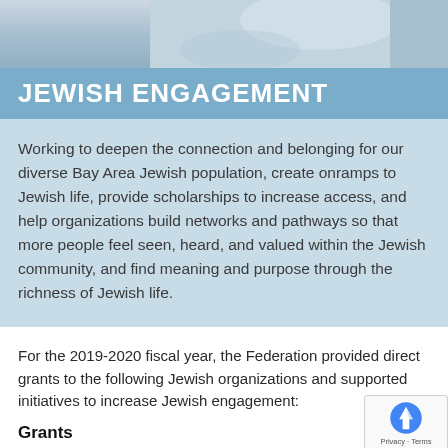[Figure (photo): Photo of a person writing or drawing, cropped at top of page]
JEWISH ENGAGEMENT
Working to deepen the connection and belonging for our diverse Bay Area Jewish population, create onramps to Jewish life, provide scholarships to increase access, and help organizations build networks and pathways so that more people feel seen, heard, and valued within the Jewish community, and find meaning and purpose through the richness of Jewish life.
For the 2019-2020 fiscal year, the Federation provided direct grants to the following Jewish organizations and supported initiatives to increase Jewish engagement:
Grants